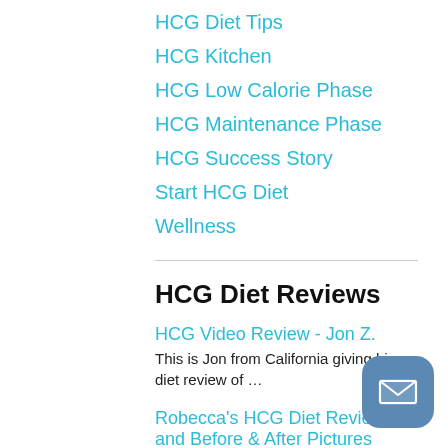HCG Diet Tips
HCG Kitchen
HCG Low Calorie Phase
HCG Maintenance Phase
HCG Success Story
Start HCG Diet
Wellness
HCG Diet Reviews
HCG Video Review - Jon Z.
This is Jon from California giving his diet review of …
Robecca's HCG Diet Review and Before & After Pictures
Check out Robbeca's HCG Diet review using hcg drops from …
Renica's Weight Loss Diet Before and After